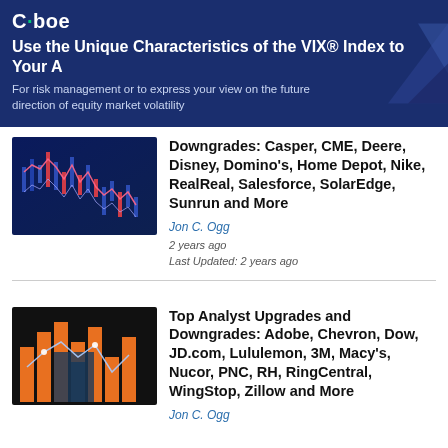[Figure (infographic): Cboe banner advertisement: Use the Unique Characteristics of the VIX Index to Your Advantage. For risk management or to express your view on the future direction of equity market volatility.]
[Figure (photo): Stock market chart with candlestick patterns and lines on dark blue background]
Downgrades: Casper, CME, Deere, Disney, Domino's, Home Depot, Nike, RealReal, Salesforce, SolarEdge, Sunrun and More
Jon C. Ogg
2 years ago
Last Updated: 2 years ago
[Figure (photo): Financial bar chart with orange bars on dark background with line graph]
Top Analyst Upgrades and Downgrades: Adobe, Chevron, Dow, JD.com, Lululemon, 3M, Macy's, Nucor, PNC, RH, RingCentral, WingStop, Zillow and More
Jon C. Ogg